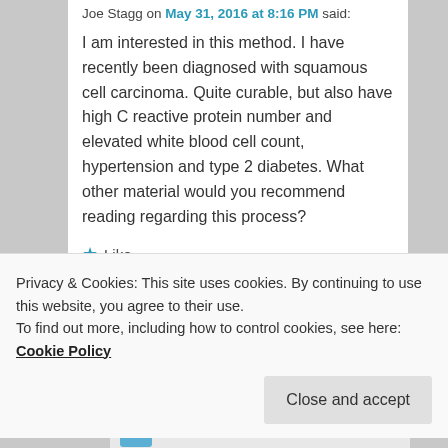Joe Stagg on May 31, 2016 at 8:16 PM said:
I am interested in this method. I have recently been diagnosed with squamous cell carcinoma. Quite curable, but also have high C reactive protein number and elevated white blood cell count, hypertension and type 2 diabetes. What other material would you recommend reading regarding this process?
Like
Reply ↓
esmeelafleur
Privacy & Cookies: This site uses cookies. By continuing to use this website, you agree to their use.
To find out more, including how to control cookies, see here: Cookie Policy
Close and accept